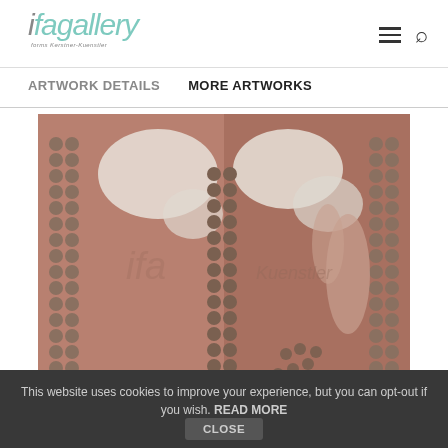ifa gallery
ARTWORK DETAILS    MORE ARTWORKS
[Figure (photo): Gallery artwork photograph showing two panels with small round seeds/beads arranged along edges and painted/distressed surfaces with pinkish-brown tones and map-like patterns]
This website uses cookies to improve your experience, but you can opt-out if you wish. READ MORE  CLOSE